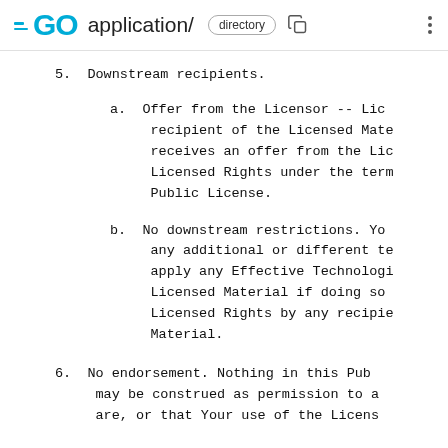GO application/ directory
5. Downstream recipients.
a. Offer from the Licensor -- Lic recipient of the Licensed Mate receives an offer from the Lic Licensed Rights under the term Public License.
b. No downstream restrictions. Yo any additional or different te apply any Effective Technologi Licensed Material if doing so Licensed Rights by any recipie Material.
6. No endorsement. Nothing in this Pub may be construed as permission to a are, or that Your use of the Licens